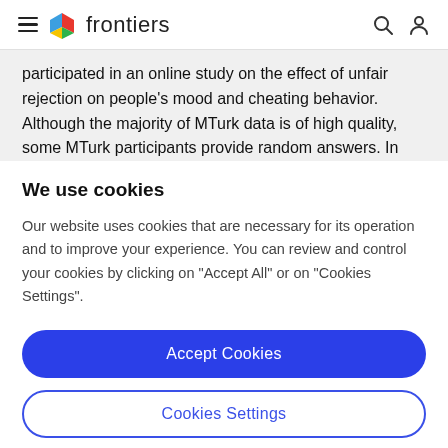frontiers
participated in an online study on the effect of unfair rejection on people's mood and cheating behavior. Although the majority of MTurk data is of high quality, some MTurk participants provide random answers. In
We use cookies
Our website uses cookies that are necessary for its operation and to improve your experience. You can review and control your cookies by clicking on "Accept All" or on "Cookies Settings".
Accept Cookies
Cookies Settings